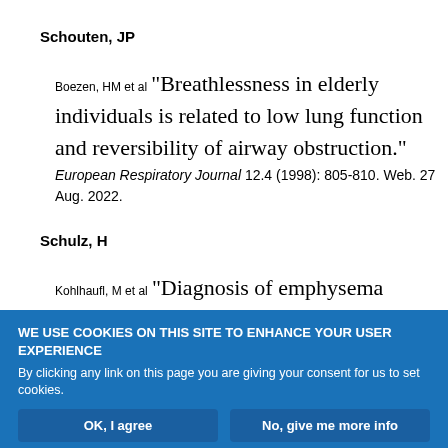Schouten, JP
Boezen, HM et al "Breathlessness in elderly individuals is related to low lung function and reversibility of airway obstruction." European Respiratory Journal 12.4 (1998): 805-810. Web. 27 Aug. 2022.
Schulz, H
Kohlhaufl, M et al "Diagnosis of emphysema
WE USE COOKIES ON THIS SITE TO ENHANCE YOUR USER EXPERIENCE
By clicking any link on this page you are giving your consent for us to set cookies.
OK, I agree
No, give me more info